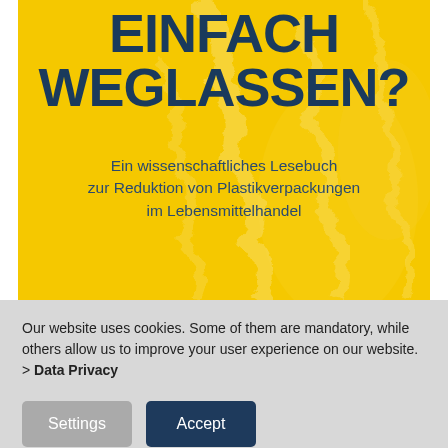[Figure (photo): Book cover with yellow background and plastic wrap texture. Title text 'EINFACH WEGLASSEN?' in large dark blue bold uppercase letters. Subtitle below: 'Ein wissenschaftliches Lesebuch zur Reduktion von Plastikverpackungen im Lebensmittelhandel']
EINFACH WEGLASSEN?
Ein wissenschaftliches Lesebuch zur Reduktion von Plastikverpackungen im Lebensmittelhandel
Our website uses cookies. Some of them are mandatory, while others allow us to improve your user experience on our website.
> Data Privacy
Settings  Accept